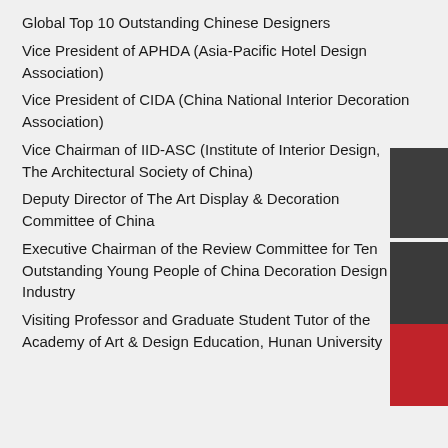Global Top 10 Outstanding Chinese Designers
Vice President of APHDA (Asia-Pacific Hotel Design Association)
Vice President of CIDA (China National Interior Decoration Association)
Vice Chairman of IID-ASC (Institute of Interior Design, The Architectural Society of China)
Deputy Director of The Art Display & Decoration Committee of China
Executive Chairman of the Review Committee for Ten Outstanding Young People of China Decoration Design Industry
Visiting Professor and Graduate Student Tutor of the Academy of Art & Design Education, Hunan University